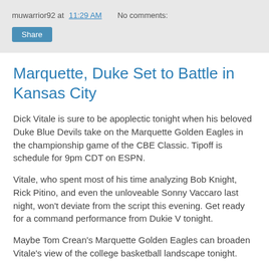muwarrior92 at 11:29 AM   No comments:
Share
Marquette, Duke Set to Battle in Kansas City
Dick Vitale is sure to be apoplectic tonight when his beloved Duke Blue Devils take on the Marquette Golden Eagles in the championship game of the CBE Classic. Tipoff is schedule for 9pm CDT on ESPN.
Vitale, who spent most of his time analyzing Bob Knight, Rick Pitino, and even the unloveable Sonny Vaccaro last night, won't deviate from the script this evening. Get ready for a command performance from Dukie V tonight.
Maybe Tom Crean's Marquette Golden Eagles can broaden Vitale's view of the college basketball landscape tonight.